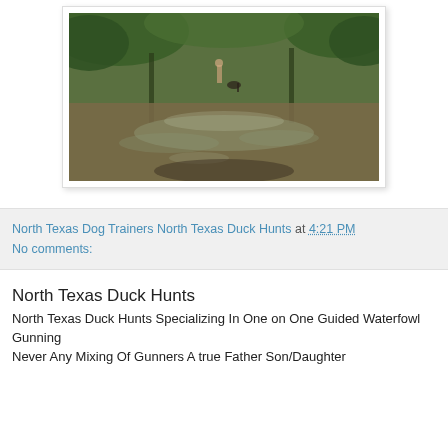[Figure (photo): Outdoor nature photo of a flooded wooded area with trees, water, and reflections. A figure is visible in the background.]
North Texas Dog Trainers North Texas Duck Hunts at 4:21 PM
No comments:
North Texas Duck Hunts
North Texas Duck Hunts Specializing In One on One Guided Waterfowl Gunning
Never Any Mixing Of Gunners A true Father Son/Daughter